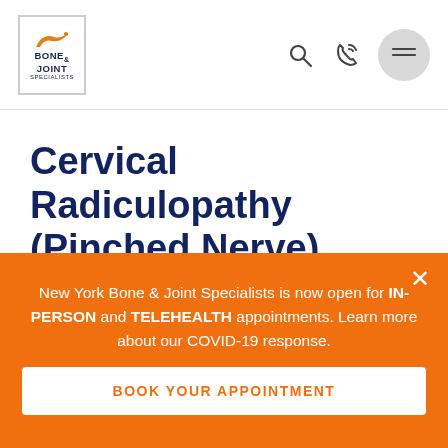[Figure (logo): New York Bone & Joint Specialists logo with bird icon and navigation icons (search, phone, menu)]
Cervical Radiculopathy (Pinched Nerve)
Symptoms & Conditions | Top NYC Orthopedic Neck Doctors | Cervical Radiculopathy (Pinched Nerve)
New York Bone & Joint Specialists is now open for IN-PERSON and TELEHEALTH appointments. Learn more about our COVID-19 response.
BOOK YOUR APPOINTMENT